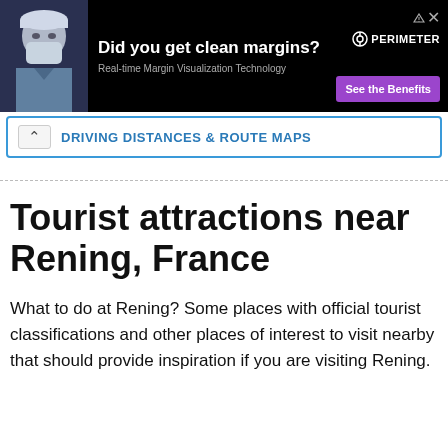[Figure (infographic): Advertisement banner: black background with a doctor photo on the left, headline 'Did you get clean margins?', subtext 'Real-time Margin Visualization Technology', Perimeter logo top right, and a purple 'See the Benefits' button.]
DRIVING DISTANCES & ROUTE MAPS
Tourist attractions near Rening, France
What to do at Rening? Some places with official tourist classifications and other places of interest to visit nearby that should provide inspiration if you are visiting Rening.